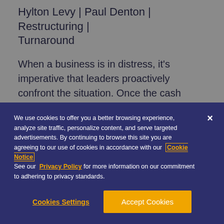Hylton Levy | Paul Denton | Restructuring | Turnaround
When a business is in distress, it's imperative that leaders proactively confront the situation. Once the cash conservation program has been established, Paul Denton suggests seeking management buy-in is the
We use cookies to offer you a better browsing experience, analyze site traffic, personalize content, and serve targeted advertisements. By continuing to browse this site you are agreeing to our use of cookies in accordance with our Cookie Notice
See our Privacy Policy for more information on our commitment to adhering to privacy standards.
Cookies Settings
Accept Cookies